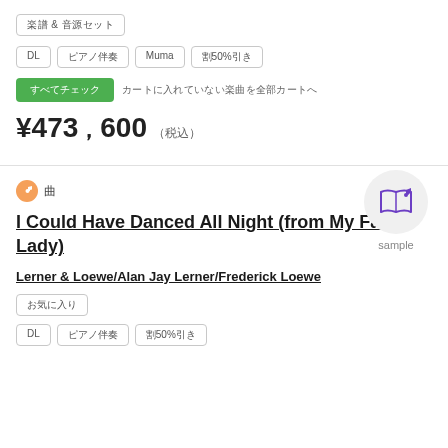楽譜 & 音源セット
DL　ピアノ伴奏　Muma　割50%引き
すべてチェック　カートに入れていない楽曲を全部カートへ
¥473,600 (税込)
[Figure (illustration): Sample button with open book and music note icon in purple, on a light grey circle background, labeled 'sample']
🎵 曲
I Could Have Danced All Night (from My Fair Lady)
Lerner & Loewe/Alan Jay Lerner/Frederick Loewe
お気に入り
DL　ピアノ伴奏　割50%引き